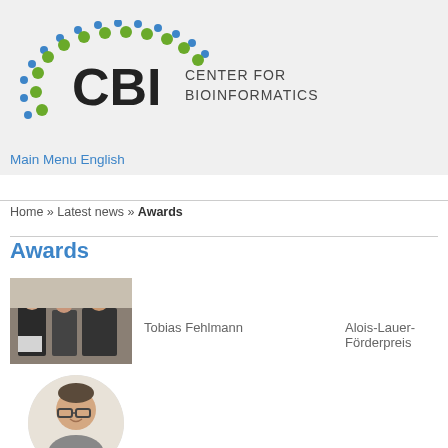[Figure (logo): CBI Center for Bioinformatics logo with arc of blue and green dots and bold CBI text]
Main Menu English
Home » Latest news » Awards
Awards
[Figure (photo): Group photo of Tobias Fehlmann receiving an award, three men in suits]
Tobias Fehlmann
Alois-Lauer-Förderpreis
[Figure (photo): Headshot of a man with glasses, partially visible]